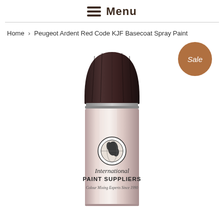Menu
Home > Peugeot Ardent Red Code KJF Basecoat Spray Paint
[Figure (photo): Spray paint can from International Paint Suppliers with a dark cap and metallic silver/rose body, showing globe logo, text 'International PAINT SUPPLIERS Colour Mixing Experts Since 1990'. A brown 'Sale' badge appears in the top right.]